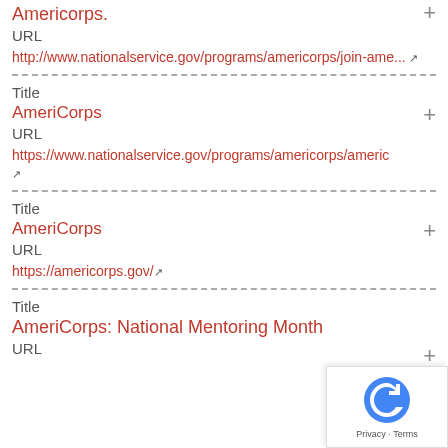Americorps.
URL
http://www.nationalservice.gov/programs/americorps/join-ame...
Title
AmeriCorps
URL
https://www.nationalservice.gov/programs/americorps/americ
Title
AmeriCorps
URL
https://americorps.gov/
Title
AmeriCorps: National Mentoring Month
URL